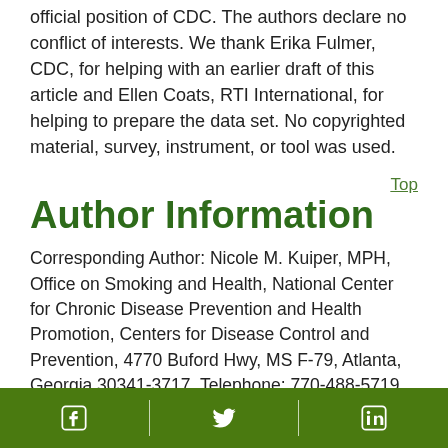official position of CDC. The authors declare no conflict of interests. We thank Erika Fulmer, CDC, for helping with an earlier draft of this article and Ellen Coats, RTI International, for helping to prepare the data set. No copyrighted material, survey, instrument, or tool was used.
Author Information
Corresponding Author: Nicole M. Kuiper, MPH, Office on Smoking and Health, National Center for Chronic Disease Prevention and Health Promotion, Centers for Disease Control and Prevention, 4770 Buford Hwy, MS F-79, Atlanta, Georgia 30341-3717. Telephone: 770-488-5719. Email: Nkuiper@cdc.gov.
Social media icons: Facebook, Twitter, LinkedIn